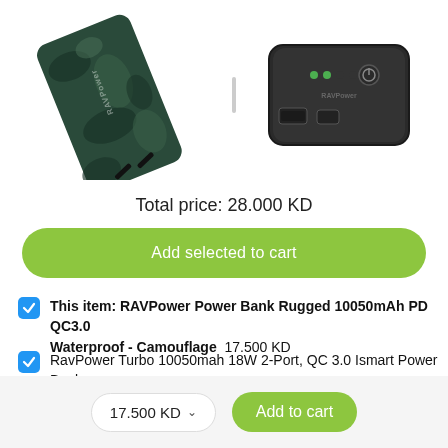[Figure (photo): Two product images side by side: left is RAVPower rugged camouflage power bank, right is RAVPower black power bank, separated by a vertical bar icon]
Total price: 28.000 KD
Add selected to cart
This item: RAVPower Power Bank Rugged 10050mAh PD QC3.0 Waterproof - Camouflage  17.500 KD
RavPower Turbo 10050mah 18W 2-Port, QC 3.0 Ismart Power Bank - Black  10.500 KD
17.500 KD   Add to cart